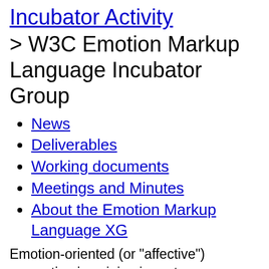Incubator Activity
> W3C Emotion Markup Language Incubator Group
News
Deliverables
Working documents
Meetings and Minutes
About the Emotion Markup Language XG
Emotion-oriented (or "affective") computing is gaining importance as interactive technological systems become more sophisticated. Representing the emotional states of a user or the emotional states to be simulated by a user interface requires